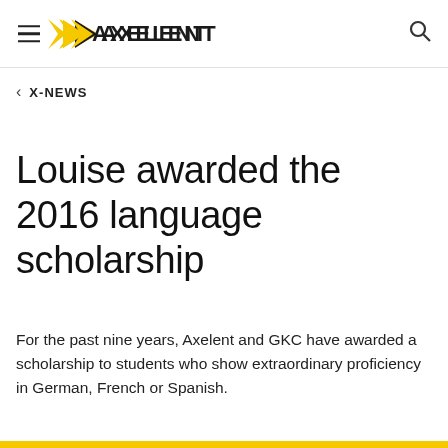AXELENT
< X-NEWS
Louise awarded the 2016 language scholarship
For the past nine years, Axelent and GKC have awarded a scholarship to students who show extraordinary proficiency in German, French or Spanish.